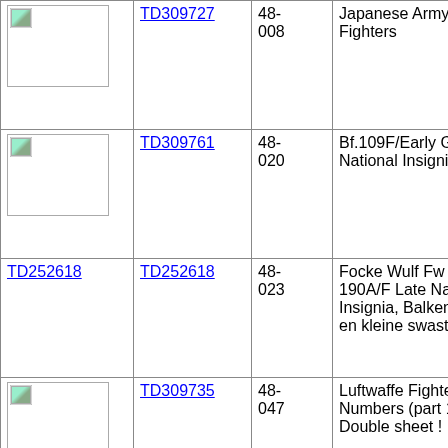| Image | Link | Number | Description |
| --- | --- | --- | --- |
| [image] | TD309727 | 48-008 | Japanese Army A.F. Fighters |
| [image] | TD309761 | 48-020 | Bf.109F/Early G National Insignias |
| TD252618 | TD252618 | 48-023 | Focke Wulf Fw 190A/F Late National Insignia, Balkenkruis en kleine swastika's |
| [image] | TD309735 | 48-047 | Luftwaffe Fighter Numbers (part 1), Double sheet ! |
| [image] | TD309764 | 48-061 | Butcher Birds - Part 2 |